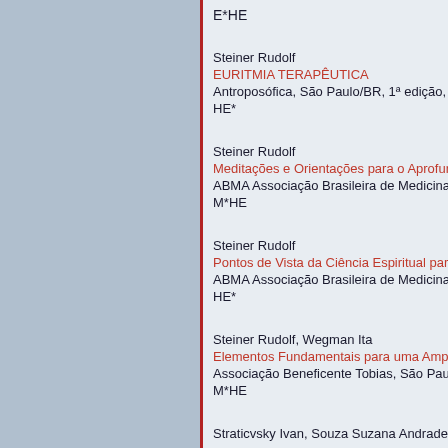E*HE
Steiner Rudolf
EURITMIA TERAPÊUTICA
Antroposófica, São Paulo/BR, 1ª edição,
HE*
Steiner Rudolf
Meditações e Orientações para o Aprofun...
ABMA Associação Brasileira de Medicina
M*HE
Steiner Rudolf
Pontos de Vista da Ciência Espiritual para...
ABMA Associação Brasileira de Medicina
HE*
Steiner Rudolf, Wegman Ita
Elementos Fundamentais para uma Ampl...
Associação Beneficente Tobias, São Paul...
M*HE
Straticvsky Ivan, Souza Suzana Andrade...